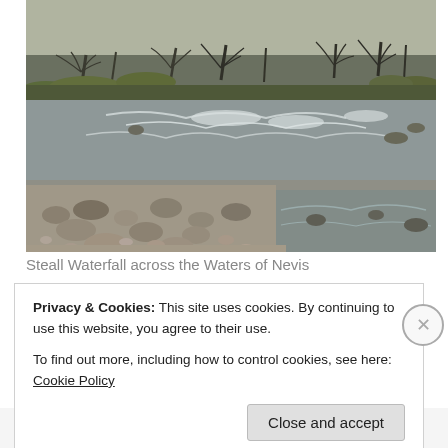[Figure (photo): Photograph of a shallow rocky river with pebbly banks in the foreground, shallow rapids in the middle distance, and bare trees and grassy hills in the background. Scene is the Waters of Nevis near Steall Waterfall, Scotland.]
Steall Waterfall across the Waters of Nevis
Privacy & Cookies: This site uses cookies. By continuing to use this website, you agree to their use.
To find out more, including how to control cookies, see here: Cookie Policy
Close and accept